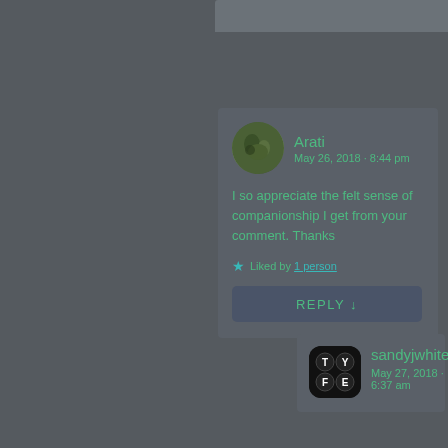[Figure (screenshot): Website comment section screenshot showing two comments on a dark gray background.]
Arati
May 26, 2018 · 8:44 pm
I so appreciate the felt sense of companionship I get from your comment. Thanks
★ Liked by 1 person
REPLY ↓
sandyjwhite
May 27, 2018 · 6:37 am